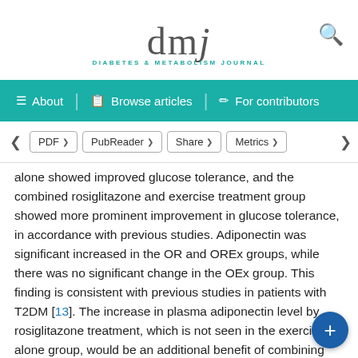dmj — DIABETES & METABOLISM JOURNAL
[Figure (screenshot): Navigation bar with About, Browse articles, For contributors links on teal background]
[Figure (screenshot): Toolbar with PDF, PubReader, Share, Metrics buttons]
alone showed improved glucose tolerance, and the combined rosiglitazone and exercise treatment group showed more prominent improvement in glucose tolerance, in accordance with previous studies. Adiponectin was significant increased in the OR and OREx groups, while there was no significant change in the OEx group. This finding is consistent with previous studies in patients with T2DM [13]. The increase in plasma adiponectin level by rosiglitazone treatment, which is not seen in the exercise-alone group, would be an additional benefit of combining rosiglitazone to exercise, since adiponectin is known to have beneficial effects such as insulin sensitizing, anti-inflammatory, and anti-atherogenic properties [31]. Although we have not measured other cytokines, it is possible that other cytokines may have also played a role. In patients with T2DM, exercise, rosiglitazone, and